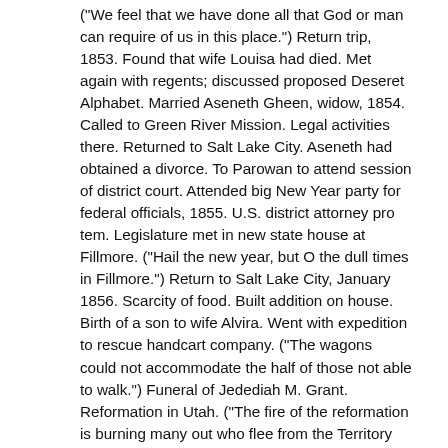("We feel that we have done all that God or man can require of us in this place.") Return trip, 1853. Found that wife Louisa had died. Met again with regents; discussed proposed Deseret Alphabet. Married Aseneth Gheen, widow, 1854. Called to Green River Mission. Legal activities there. Returned to Salt Lake City. Aseneth had obtained a divorce. To Parowan to attend session of district court. Attended big New Year party for federal officials, 1855. U.S. district attorney pro tem. Legislature met in new state house at Fillmore. ("Hail the new year, but O the dull times in Fillmore.") Return to Salt Lake City, January 1856. Scarcity of food. Built addition on house. Birth of a son to wife Alvira. Went with expedition to rescue handcart company. ("The wagons could not accommodate the half of those not able to walk.") Funeral of Jedediah M. Grant. Reformation in Utah. ("The fire of the reformation is burning many out who flee from the Territory afraid of their